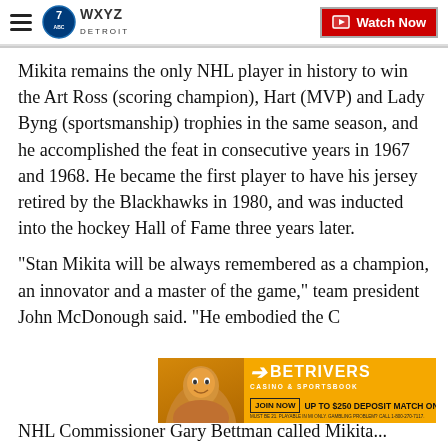WXYZ Detroit — Watch Now
Mikita remains the only NHL player in history to win the Art Ross (scoring champion), Hart (MVP) and Lady Byng (sportsmanship) trophies in the same season, and he accomplished the feat in consecutive years in 1967 and 1968. He became the first player to have his jersey retired by the Blackhawks in 1980, and was inducted into the hockey Hall of Fame three years later.
"Stan Mikita will be always remembered as a champion, an innovator and a master of the game," team president John McDonough said. "He embodied the C
[Figure (screenshot): BetRivers Casino & Sportsbook advertisement banner: JOIN NOW, UP TO $250 DEPOSIT MATCH ON 1ST DEPOSIT]
NHL Commissioner Gary Bettman called Mikita...